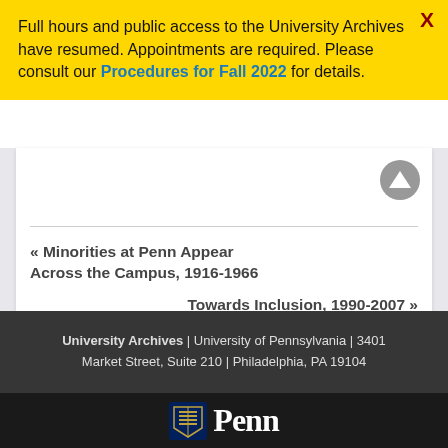Full hours and public access to the University Archives have resumed. Appointments are required. Please consult our Procedures for Fall 2022 for details.
« Minorities at Penn Appear Across the Campus, 1916-1966
Towards Inclusion, 1990-2007 »
University Archives | University of Pennsylvania | 3401 Market Street, Suite 210 | Philadelphia, PA 19104
[Figure (logo): University of Pennsylvania Penn shield logo with Penn wordmark]